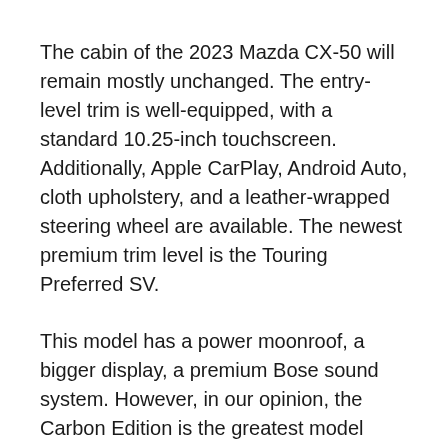The cabin of the 2023 Mazda CX-50 will remain mostly unchanged. The entry-level trim is well-equipped, with a standard 10.25-inch touchscreen. Additionally, Apple CarPlay, Android Auto, cloth upholstery, and a leather-wrapped steering wheel are available. The newest premium trim level is the Touring Preferred SV.
This model has a power moonroof, a bigger display, a premium Bose sound system. However, in our opinion, the Carbon Edition is the greatest model available. This model is quite athletic. It features a black interior color design with red highlights and leather seats. Lastly, Mazda will surely deliver the latest driver-assistance systems for improved safety.